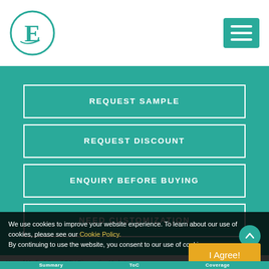[Figure (logo): Circular logo with teal border containing letter E with decorative styling]
[Figure (other): Teal hamburger menu button with three white horizontal lines]
REQUEST SAMPLE
REQUEST DISCOUNT
ENQUIRY BEFORE BUYING
NEED CUSTOMIZATION
We use cookies to improve your website experience. To learn about our use of cookies, please see our Cookie Policy.
By continuing to use the website, you consent to our use of cookies.
I Agree!
Home / Medical Care / RSV Diagnostics Market